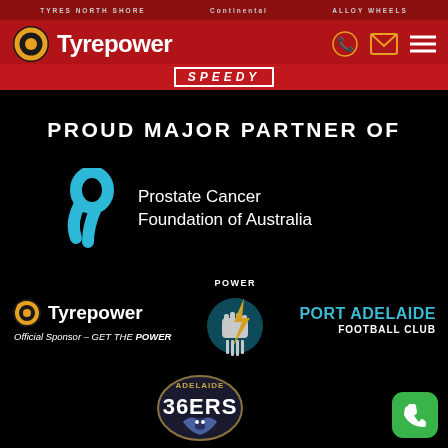[Figure (logo): Tyrepower website header with red background, Tyrepower logo (circular icon + wordmark), phone icon, email icon, hamburger menu. Top sponsor bar with Continental and Alloy Wheels logos. Speedy text banner.]
PROUD MAJOR PARTNER OF
[Figure (logo): Prostate Cancer Foundation of Australia logo - blue ribbon icon with text 'Prostate Cancer Foundation of Australia' in white on black background]
[Figure (logo): Tyrepower logo with 'Official Sponsor - GET THE POWER' text, Port Adelaide Power FC logo, PORT ADELAIDE FOOTBALL CLUB text in teal]
[Figure (logo): Adelaide 36ers basketball club logo on black background]
[Figure (other): Green phone button in bottom right corner]